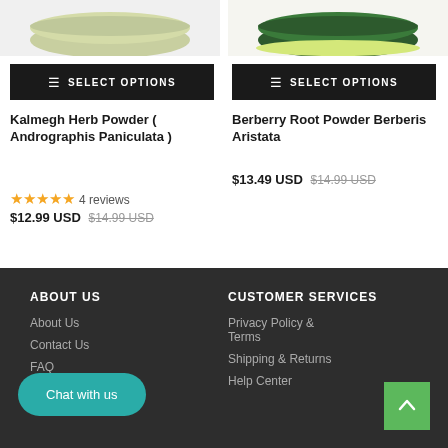[Figure (photo): Product image of Kalmegh Herb Powder jar (partially visible, top of page)]
[Figure (photo): Product image of Berberry Root Powder jar (partially visible, top of page)]
SELECT OPTIONS
SELECT OPTIONS
Kalmegh Herb Powder ( Andrographis Paniculata )
★★★★★ 4 reviews
$12.99 USD $14.99 USD
Berberry Root Powder Berberis Aristata
$13.49 USD $14.99 USD
ABOUT US
CUSTOMER SERVICES
Privacy Policy & Terms
Shipping & Returns
Help Center
Contact Us
FAQ
Chat with us